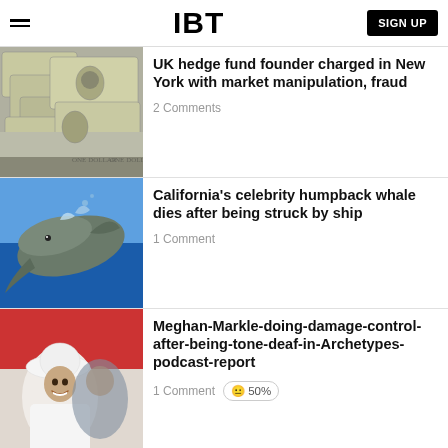IBT
UK hedge fund founder charged in New York with market manipulation, fraud
2 Comments
California's celebrity humpback whale dies after being struck by ship
1 Comment
Meghan-Markle-doing-damage-control-after-being-tone-deaf-in-Archetypes-podcast-report
1 Comment 50%